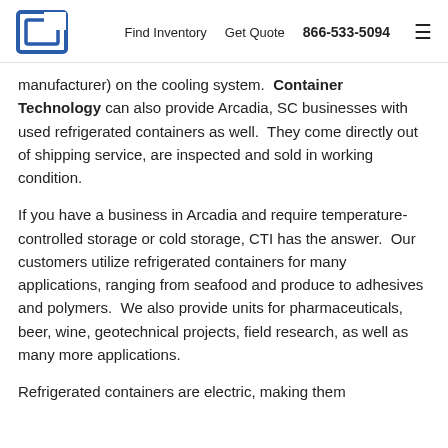Find Inventory  Get Quote  866-533-5094
manufacturer) on the cooling system.  Container Technology can also provide Arcadia, SC businesses with used refrigerated containers as well.  They come directly out of shipping service, are inspected and sold in working condition.
If you have a business in Arcadia and require temperature-controlled storage or cold storage, CTI has the answer.  Our customers utilize refrigerated containers for many applications, ranging from seafood and produce to adhesives and polymers.  We also provide units for pharmaceuticals, beer, wine, geotechnical projects, field research, as well as many more applications.
Refrigerated containers are electric, making them